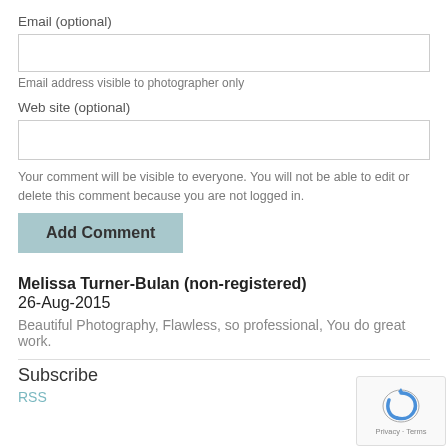Email (optional)
Email address visible to photographer only
Web site (optional)
Your comment will be visible to everyone. You will not be able to edit or delete this comment because you are not logged in.
Add Comment
Melissa Turner-Bulan (non-registered)
26-Aug-2015
Beautiful Photography, Flawless, so professional, You do great work.
Subscribe
RSS